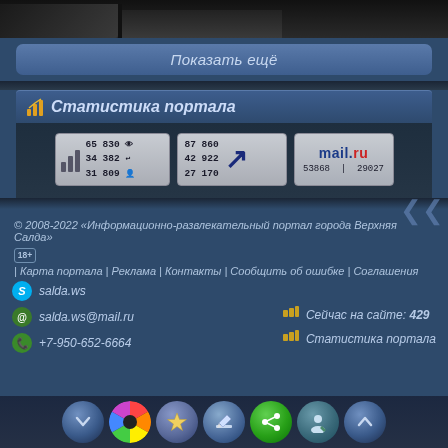[Figure (screenshot): Dark top strip with partial images]
Показать ещё
Статистика портала
[Figure (screenshot): Web counters: 65830/34382/31809, 87860/42922/27170, mail.ru 53868/29027]
© 2008-2022 «Информационно-развлекательный портал города Верхняя Салда»
18+ | Карта портала | Реклама | Контакты | Сообщить об ошибке | Соглашения
salda.ws
salda.ws@mail.ru
+7-950-652-6664
Сейчас на сайте: 429
Статистика портала
[Figure (screenshot): Bottom navigation bar with circular icon buttons]